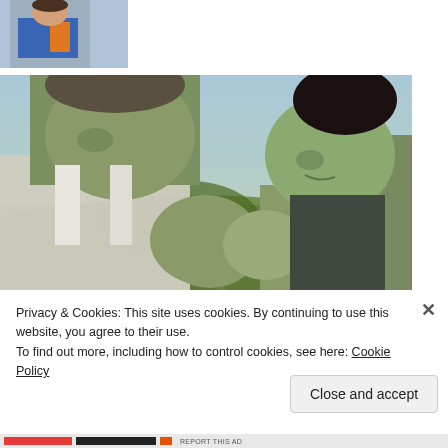[Figure (photo): Small thumbnail image showing a person in a blue and orange costume, cropped at the top of the page.]
[Figure (photo): A still from the TV show She-Hulk: Attorney at Law showing two large green-skinned characters (Hulk and She-Hulk) facing each other with their palms pressed together, outdoors with green hills in the background.]
Privacy & Cookies: This site uses cookies. By continuing to use this website, you agree to their use.
To find out more, including how to control cookies, see here: Cookie Policy
Close and accept